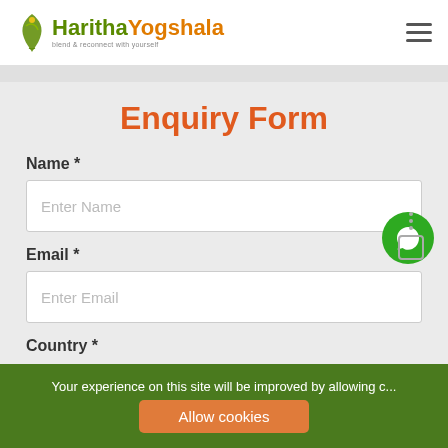Haritha Yogshala
Enquiry Form
Name *
Enter Name
Email *
Enter Email
Country *
Your experience on this site will be improved by allowing cookies
Allow cookies